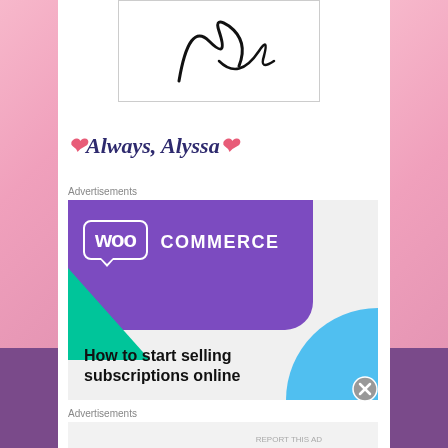[Figure (illustration): Handwritten cursive signature/logo in black ink on white background with border]
❤Always, Alyssa❤
Advertisements
[Figure (screenshot): WooCommerce advertisement banner with purple background, green triangle, blue quarter-circle, and text: How to start selling subscriptions online]
Advertisements